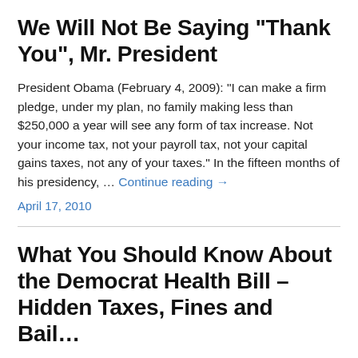We Will Not Be Saying "Thank You", Mr. President
President Obama (February 4, 2009): "I can make a firm pledge, under my plan, no family making less than $250,000 a year will see any form of tax increase. Not your income tax, not your payroll tax, not your capital gains taxes, not any of your taxes." In the fifteen months of his presidency, … Continue reading →
April 17, 2010
What You Should Know About the Democrat Health Bill – Hidden Taxes, Fines and Bail...